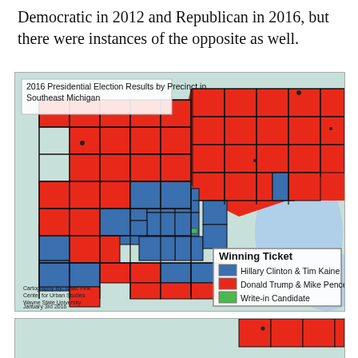Democratic in 2012 and Republican in 2016, but there were instances of the opposite as well.
[Figure (map): 2016 Presidential Election Results by Precinct in Southeast Michigan. Map shows precincts colored by winning ticket: blue for Hillary Clinton & Tim Kaine, red for Donald Trump & Mike Pence, green for Write-in Candidate. Most of the region is red (Republican), with blue concentrated in the Detroit urban core area. Legend shows three categories. Attribution: Cartography By: Isaac Fink, Center for Urban Studies, Wayne State University, January 3rd 2016.]
[Figure (map): Partial view of a second map, showing the top portion with similar red-colored precincts in Southeast Michigan.]